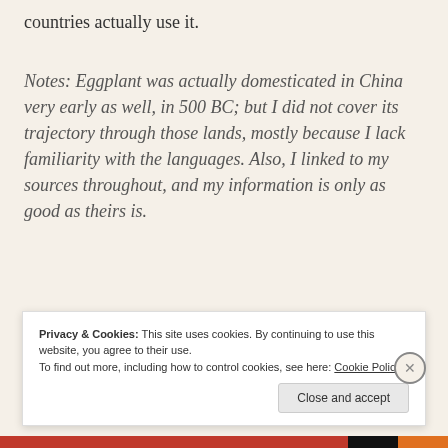countries actually use it.
Notes: Eggplant was actually domesticated in China very early as well, in 500 BC; but I did not cover its trajectory through those lands, mostly because I lack familiarity with the languages. Also, I linked to my sources throughout, and my information is only as good as theirs is.
How f... [partial, obscured by cookie banner]
Privacy & Cookies: This site uses cookies. By continuing to use this website, you agree to their use.
To find out more, including how to control cookies, see here: Cookie Policy
Close and accept